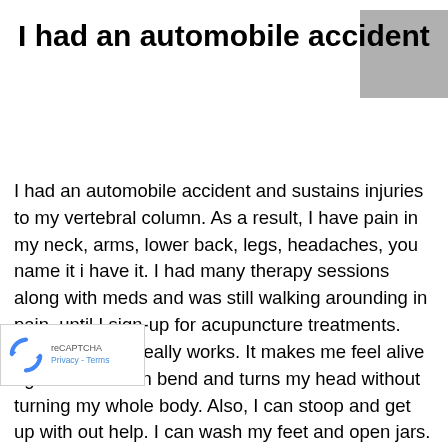I had an automobile accident
I had an automobile accident and sustains injuries to my vertebral column. As a result, I have pain in my neck, arms, lower back, legs, headaches, you name it i have it. I had many therapy sessions along with meds and was still walking arounding in pain, until I sign-up for acupuncture treatments. This treatment really works. It makes me feel alive again. Now I can bend and turns my head without turning my whole body. Also, I can stoop and get up with out help. I can wash my feet and open jars. is a major milestone for me. I was loosing cle strenght. Thanks to Acupuncture Park for this chines healing practice, I can say I'm on the